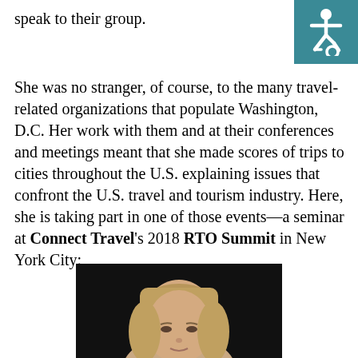speak to their group.
She was no stranger, of course, to the many travel-related organizations that populate Washington, D.C. Her work with them and at their conferences and meetings meant that she made scores of trips to cities throughout the U.S. explaining issues that confront the U.S. travel and tourism industry. Here, she is taking part in one of those events—a seminar at Connect Travel's 2018 RTO Summit in New York City:
[Figure (photo): Photo of a woman with blonde/light brown hair against a dark background, shown from shoulders up]